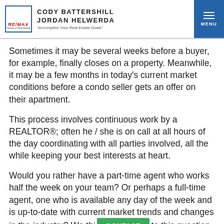CODY BATTERSHILL JORDAN HELWERDA RE/MAX "Accomplish Your Real Estate Goals" MENU
Sometimes it may be several weeks before a buyer, for example, finally closes on a property. Meanwhile, it may be a few months in today's current market conditions before a condo seller gets an offer on their apartment.
This process involves continuous work by a REALTOR®; often he / she is on call at all hours of the day coordinating with all parties involved, all the while keeping your best interests at heart.
Would you rather have a part-time agent who works half the week on your team? Or perhaps a full-time agent, one who is available any day of the week and is up-to-date with current market trends and changes in the industry? We thi [CONTACT] to this question is